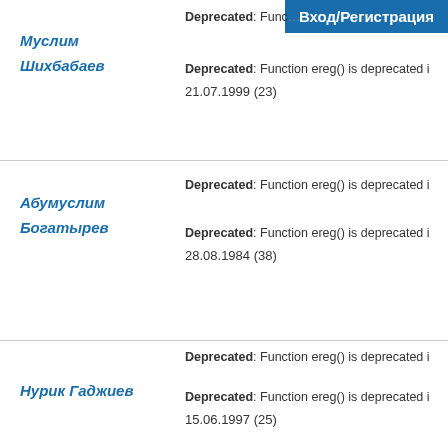Вход/Регистрация
Муслим Шихбабаев — Deprecated: Function ereg() is deprecated — 21.07.1999 (23)
Абумуслим Богатырев — Deprecated: Function ereg() is deprecated — 28.08.1984 (38)
Нурик Гаджиев — Deprecated: Function ereg() is deprecated — 15.06.1997 (25)